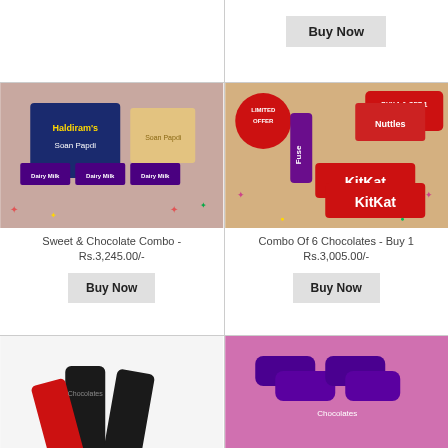[Figure (photo): Top-left card: partial view, product image cut off, showing Buy Now button area]
Buy Now
[Figure (photo): Top-right card: Buy Now button visible at top]
Buy Now
[Figure (photo): Sweet & Chocolate Combo product image showing Soan Papdi box and Cadbury Dairy Milk chocolates on pink background]
Sweet & Chocolate Combo - Rs.3,245.00/-
Buy Now
[Figure (photo): Combo Of 6 Chocolates - Buy 1 product image showing KitKat, Fuse, Nuttles chocolates with Limited Offer and Buy 1 Get 1 Free stickers]
Combo Of 6 Chocolates - Buy 1 Rs.3,005.00/-
Buy Now
[Figure (photo): Bottom-left card: partial product image showing dark chocolate bars]
[Figure (photo): Bottom-right card: partial product image showing purple-wrapped chocolates on pink background]